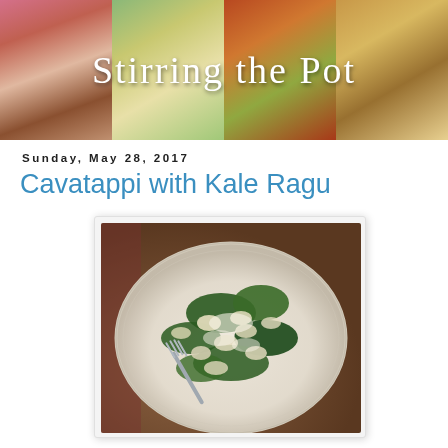[Figure (photo): Blog header banner showing four food photos side by side with the text 'Stirring the Pot' overlaid in white cursive script. Photos show: a berry fruit bowl, fish with asparagus in sauce, grilled sausages with peppers, and a grain dish with sliced vegetables.]
Sunday, May 28, 2017
Cavatappi with Kale Ragu
[Figure (photo): A white plate of cavatappi pasta mixed with sautéed kale, topped with grated parmesan cheese, with a fork inserted into the dish. The plate sits on a decorative tablecloth.]